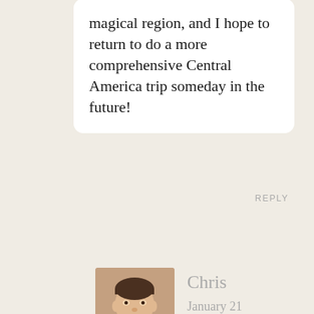magical region, and I hope to return to do a more comprehensive Central America trip someday in the future!
REPLY
[Figure (photo): Profile photo of a man named Chris, showing his face and shoulders]
Chris
January 21 2014
I'm excited to hear it referred to so glowingly.

We'd likely be taking the chance to do it pretty thoroughly, so can't wait!!